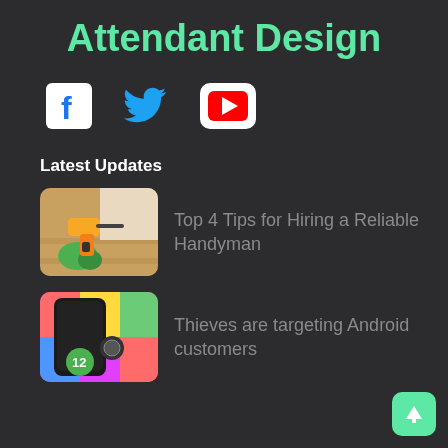Attendant Design
[Figure (other): Social media icons: Facebook, Twitter, YouTube]
Latest Updates
[Figure (photo): Thumbnail showing a hand using a power drill on wooden flooring]
Top 4 Tips for Hiring a Reliable Handyman
[Figure (screenshot): Thumbnail showing Android 12 phone with colorful background]
Thieves are targeting Android customers